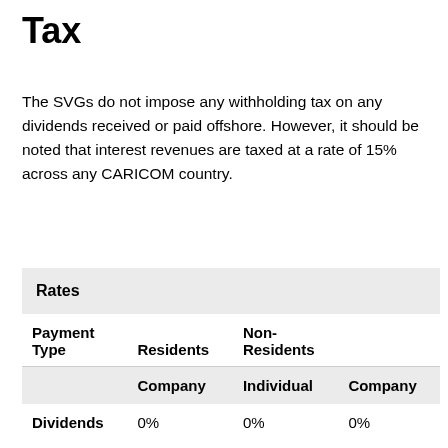Tax
The SVGs do not impose any withholding tax on any dividends received or paid offshore. However, it should be noted that interest revenues are taxed at a rate of 15% across any CARICOM country.
| Payment Type | Residents | Non-Residents |  |
| --- | --- | --- | --- |
|  | Company | Individual | Company |
| Dividends | 0% | 0% | 0% |